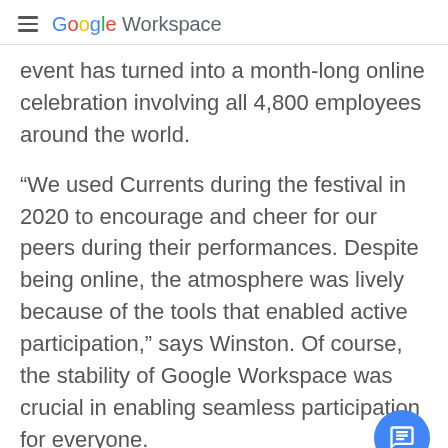Google Workspace
event has turned into a month-long online celebration involving all 4,800 employees around the world.
“We used Currents during the festival in 2020 to encourage and cheer for our peers during their performances. Despite being online, the atmosphere was lively because of the tools that enabled active participation,” says Winston. Of course, the stability of Google Workspace was crucial in enabling seamless participation for everyone.